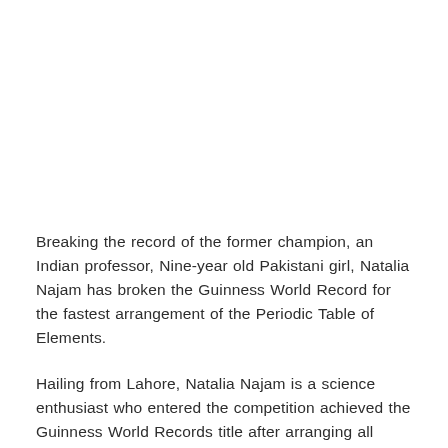Breaking the record of the former champion, an Indian professor, Nine-year old Pakistani girl, Natalia Najam has broken the Guinness World Record for the fastest arrangement of the Periodic Table of Elements.
Hailing from Lahore, Natalia Najam is a science enthusiast who entered the competition achieved the Guinness World Records title after arranging all